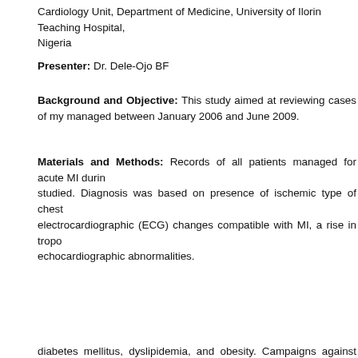Cardiology Unit, Department of Medicine, University of Ilorin Teaching Hospital, Nigeria
Presenter: Dr. Dele-Ojo BF
Background and Objective: This study aimed at reviewing cases of my managed between January 2006 and June 2009.
Materials and Methods: Records of all patients managed for acute MI during studied. Diagnosis was based on presence of ischemic type of chest electrocardiographic (ECG) changes compatible with MI, a rise in tropo echocardiographic abnormalities.
.%) female b 55.6 ± 12.7 al 6647 adn (Chi2 = 6.8 mic hyperte had diabet eloped chro
ions in llori nd treatme diabetes mellitus, dyslipidemia, and obesity. Campaigns against cigarette sm
[Figure (screenshot): Cookie consent overlay with message 'This website uses cookies. By continuing to use this website you are giving consent to cookies being used. For information on cookies and how you can disable them visit our Privacy and Cookie Policy.' and a red 'AGREE & PROCEED' button.]